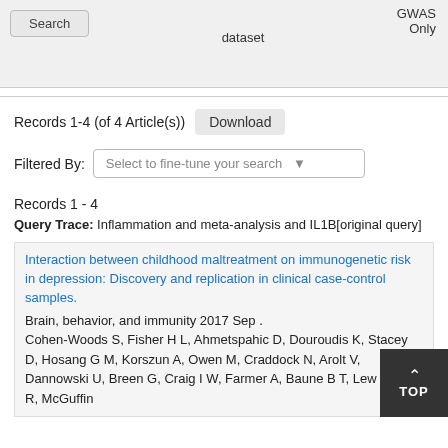[Figure (screenshot): Top bar with search button, dataset label, and GWAS Only label on gray background]
Records 1-4 (of 4 Article(s))
Download
Filtered By: Select to fine-tune your search
Records 1 - 4
Query Trace: Inflammation and meta-analysis and IL1B[original query]
Interaction between childhood maltreatment on immunogenetic risk in depression: Discovery and replication in clinical case-control samples.
Brain, behavior, and immunity 2017 Sep . Cohen-Woods S, Fisher H L, Ahmetspahic D, Douroudis K, Stacey D, Hosang G M, Korszun A, Owen M, Craddock N, Arolt V, Dannowski U, Breen G, Craig I W, Farmer A, Baune B T, Lew Uher R, McGuffin